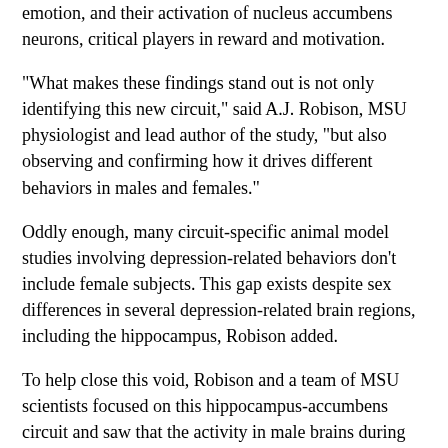emotion, and their activation of nucleus accumbens neurons, critical players in reward and motivation.
"What makes these findings stand out is not only identifying this new circuit," said A.J. Robison, MSU physiologist and lead author of the study, "but also observing and confirming how it drives different behaviors in males and females."
Oddly enough, many circuit-specific animal model studies involving depression-related behaviors don't include female subjects. This gap exists despite sex differences in several depression-related brain regions, including the hippocampus, Robison added.
To help close this void, Robison and a team of MSU scientists focused on this hippocampus-accumbens circuit and saw that the activity in male brains during stress was significantly lower than in females, and this required testosterone. When they removed testosterone, however, the